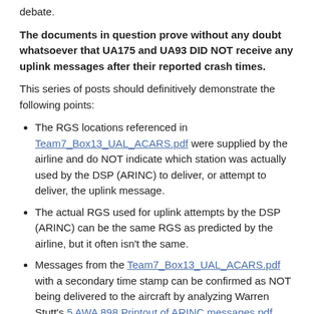debate.
The documents in question prove without any doubt whatsoever that UA175 and UA93 DID NOT receive any uplink messages after their reported crash times.
This series of posts should definitively demonstrate the following points:
The RGS locations referenced in Team7_Box13_UAL_ACARS.pdf were supplied by the airline and do NOT indicate which station was actually used by the DSP (ARINC) to deliver, or attempt to deliver, the uplink message.
The actual RGS used for uplink attempts by the DSP (ARINC) can be the same RGS as predicted by the airline, but it often isn't the same.
Messages from the Team7_Box13_UAL_ACARS.pdf with a secondary time stamp can be confirmed as NOT being delivered to the aircraft by analyzing Warren Stutt's 5 AWA 898 Printout of ARINC messages.pdf, which definitively proves that the secondary time stamp indicates something else entirely.
If anyone can point out problems with the interpretations and explanations below, feel free.